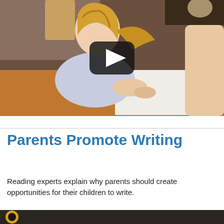[Figure (photo): A young girl with blonde hair in a ponytail writing on paper at a wooden table. A YouTube-style play button overlay is visible in the center of the image.]
Parents Promote Writing
Reading experts explain why parents should create opportunities for their children to write.
[Figure (photo): Bottom thumbnail image partially visible, showing a dark background with a golden circular logo on the left.]